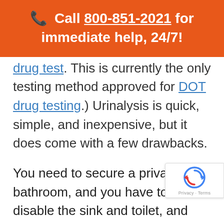📞 Call 800-851-2021 for immediate help, 24/7!
drug test. This is currently the only testing method approved for DOT drug testing.) Urinalysis is quick, simple, and inexpensive, but it does come with a few drawbacks.
You need to secure a private bathroom, and you have to disable the sink and toilet, and pour a bluing agent in the water in the toilet bowl. Privacy